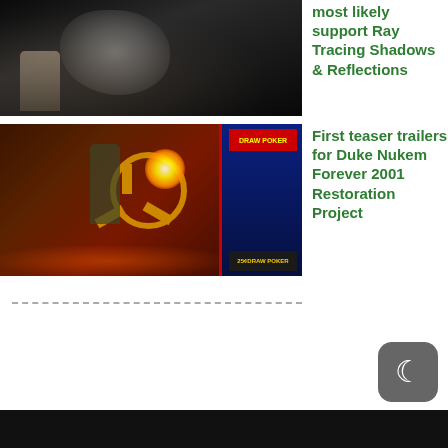[Figure (screenshot): Dark sci-fi game screenshot showing a large creature or alien object against a dark background]
most likely support Ray Tracing Shadows & Reflections
[Figure (screenshot): Duke Nukem Forever 2001 game screenshot showing a character firing weapons in a casino-like environment with Draw Poker machines]
First teaser trailers for Duke Nukem Forever 2001 Restoration Project